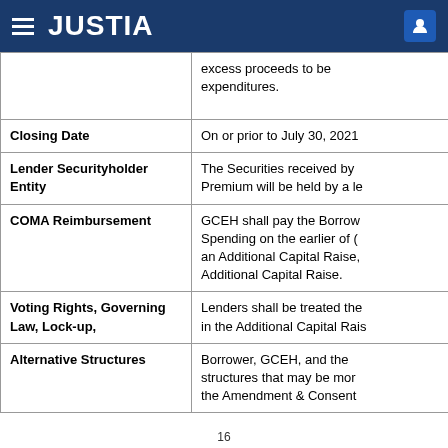JUSTIA
| Term | Description |
| --- | --- |
|  | excess proceeds to be used for capital expenditures. |
| Closing Date | On or prior to July 30, 2021 |
| Lender Securityholder Entity | The Securities received by... Premium will be held by a le... |
| COMA Reimbursement | GCEH shall pay the Borrow... Spending on the earlier of (... an Additional Capital Raise, ... Additional Capital Raise. |
| Voting Rights, Governing Law, Lock-up, | Lenders shall be treated the... in the Additional Capital Rais... |
| Alternative Structures | Borrower, GCEH, and the... structures that may be mor... the Amendment & Consent ... |
16